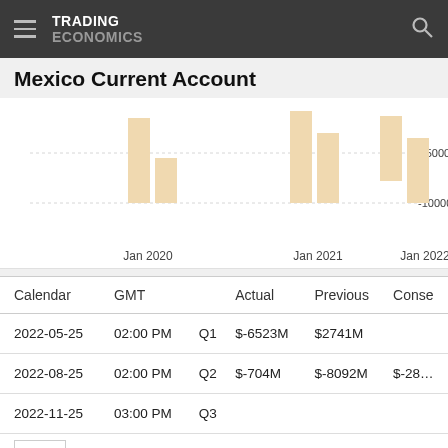TRADING ECONOMICS
Mexico Current Account
[Figure (bar-chart): Mexico Current Account]
| Calendar | GMT |  | Actual | Previous | Conse |
| --- | --- | --- | --- | --- | --- |
| 2022-05-25 | 02:00 PM | Q1 | $-6523M | $2741M |  |
| 2022-08-25 | 02:00 PM | Q2 | $-704M | $-8092M | $-28… |
| 2022-11-25 | 03:00 PM | Q3 |  |  |  |